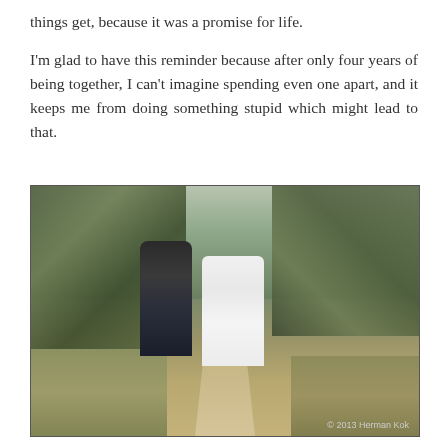things get, because it was a promise for life.

I'm glad to have this reminder because after only four years of being together, I can't imagine spending even one apart, and it keeps me from doing something stupid which might lead to that.
[Figure (photo): A bride and groom walking hand-in-hand away from the camera down a rural dirt path lined with trees on both sides. The groom is wearing a dark suit and the bride is in a long white dress with flowing sleeves, holding a bouquet. Photo credit: © 2013 Herman Kok]